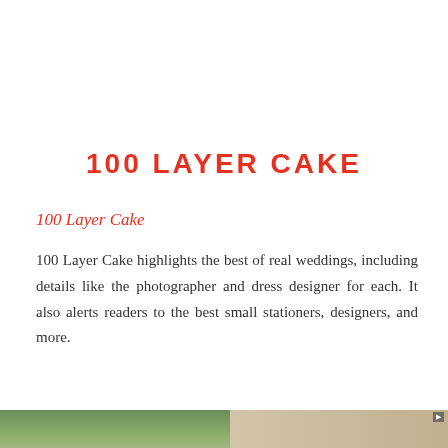100 LAYER CAKE
100 Layer Cake
100 Layer Cake highlights the best of real weddings, including details like the photographer and dress designer for each. It also alerts readers to the best small stationers, designers, and more.
[Figure (screenshot): OnceWed website screenshot footer with logo, navigation links (PURCHASE PROTECTION, HELP, FIND A VENDOR, CONTACT US, LOGIN, SIGN UP), and nav bar (SHOP, SELL, WEDDING INSPO, DIY WEDDINGS, SEARCH)]
[Figure (photo): Two partial photos at the bottom: left shows a green outdoor wedding scene, right shows a blonde woman]